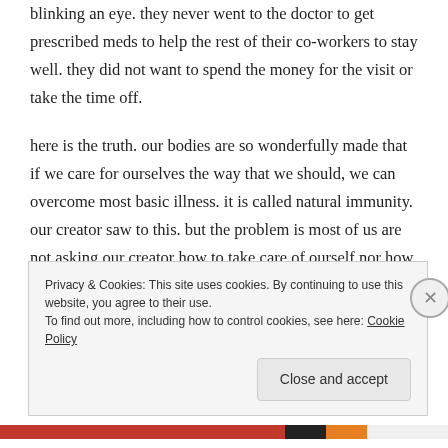blinking an eye. they never went to the doctor to get prescribed meds to help the rest of their co-workers to stay well. they did not want to spend the money for the visit or take the time off.
here is the truth. our bodies are so wonderfully made that if we care for ourselves the way that we should, we can overcome most basic illness. it is called natural immunity. our creator saw to this. but the problem is most of us are not asking our creator how to take care of ourself nor how to combat what comes our way. unfortunately we look to the government, science and
Privacy & Cookies: This site uses cookies. By continuing to use this website, you agree to their use.
To find out more, including how to control cookies, see here: Cookie Policy
Close and accept